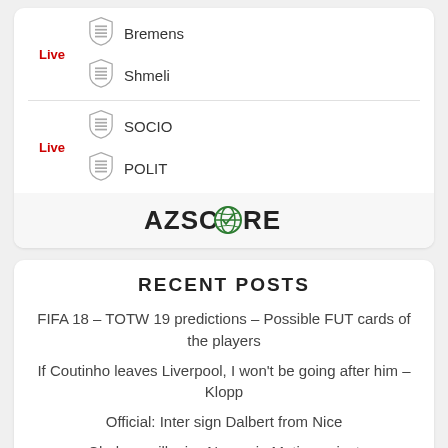Live
[Figure (logo): Team crest/shield icon for Bremens]
Bremens
[Figure (logo): Team crest/shield icon for Shmeli]
Shmeli
Live
[Figure (logo): Team crest/shield icon for SOCIO]
SOCIO
[Figure (logo): Team crest/shield icon for POLIT]
POLIT
[Figure (logo): AZSCORE logo with green globe icon]
RECENT POSTS
FIFA 18 – TOTW 19 predictions – Possible FUT cards of the players
If Coutinho leaves Liverpool, I won't be going after him – Klopp
Official: Inter sign Dalbert from Nice
Chelsea will miss Nemanja Matic against